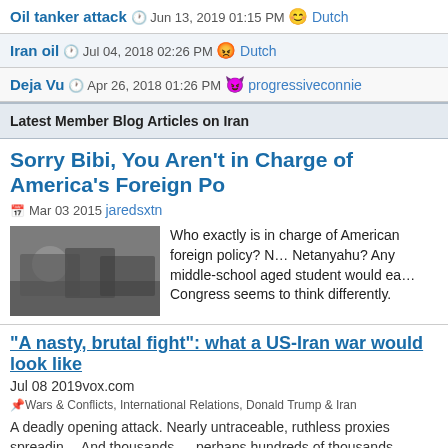Oil tanker attack  Jun 13, 2019 01:15 PM  Dutch
Iran oil  Jul 04, 2018 02:26 PM  Dutch
Deja Vu  Apr 26, 2018 01:26 PM  progressiveconnie
Latest Member Blog Articles on Iran
Sorry Bibi, You Aren't in Charge of America's Foreign Po…
Mar 03 2015  jaredsxtn
Who exactly is in charge of American foreign policy? Netanyahu? Any middle-school aged student would ea… Congress seems to think differently.
"A nasty, brutal fight": what a US-Iran war would look like
Jul 08 2019vox.com
Wars & Conflicts, International Relations, Donald Trump & Iran
A deadly opening attack. Nearly untraceable, ruthless proxies spreading… And thousands — perhaps hundreds of thousands — killed in a conflict…
What Trump's decision to "decertify" the Iran nuclear deal actually…
Oct 13 2017vox.com
International Relations, Donald Trump & Iran